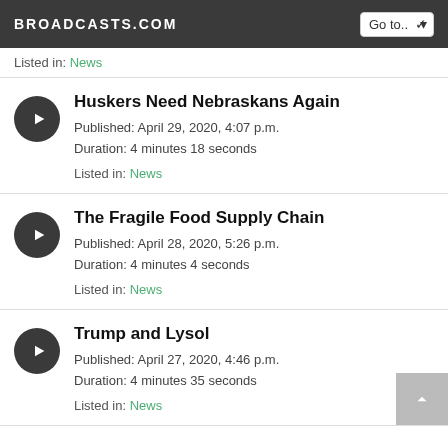BROADCASTS.COM
Listed in: News
Huskers Need Nebraskans Again
Published: April 29, 2020, 4:07 p.m.
Duration: 4 minutes 18 seconds
Listed in: News
The Fragile Food Supply Chain
Published: April 28, 2020, 5:26 p.m.
Duration: 4 minutes 4 seconds
Listed in: News
Trump and Lysol
Published: April 27, 2020, 4:46 p.m.
Duration: 4 minutes 35 seconds
Listed in: News